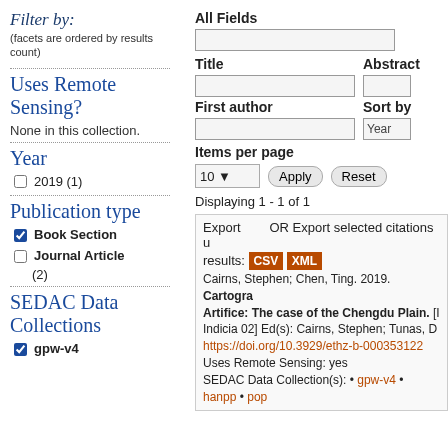Filter by: (facets are ordered by results count)
Uses Remote Sensing?
None in this collection.
Year
2019 (1)
Publication type
Book Section [checked]
Journal Article (2)
SEDAC Data Collections
gpw-v4 [checked]
All Fields [input]
Title [input]
Abstract [input]
First author [input]
Sort by: Year
Items per page: 10 [Apply] [Reset]
Displaying 1 - 1 of 1
| Export | OR Export selected citations using buttons below — results: | CSV | XML |
| --- | --- | --- |
| Cairns, Stephen; Chen, Ting. 2019. Cartographic Artifice: The case of the Chengdu Plain. [Indicia 02] Ed(s): Cairns, Stephen; Tunas, D |  |  |
| https://doi.org/10.3929/ethz-b-000353122 |  |  |
| Uses Remote Sensing: yes |  |  |
| SEDAC Data Collection(s): • gpw-v4 • hanpp • pop |  |  |